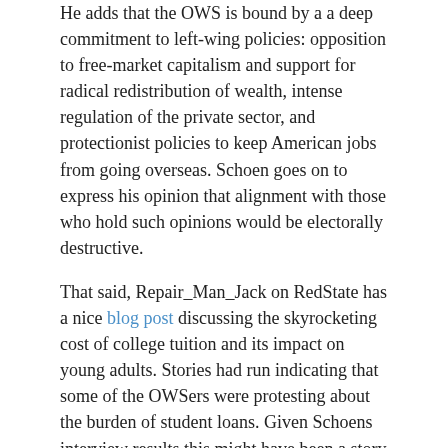He adds that the OWS is bound by a a deep commitment to left-wing policies: opposition to free-market capitalism and support for radical redistribution of wealth, intense regulation of the private sector, and protectionist policies to keep American jobs from going overseas. Schoen goes on to express his opinion that alignment with those who hold such opinions would be electorally destructive.
That said, Repair_Man_Jack on RedState has a nice blog post discussing the skyrocketing cost of college tuition and its impact on young adults. Stories had run indicating that some of the OWSers were protesting about the burden of student loans. Given Schoens interview results this might have been a story line intended to make the protesters more sympathetic. On the other hand, a bunch of Marxists might just want their debts repudiated.
Whatever they believe the RedState article recognizes this dissatisfaction. The underlying problem is real and FRChas expressed its concern with the existence of the higher education racket. (Paul Peterson of Harvard accurately called it the Education Industrial Complex in 2008.) American education is defective at the primary and secondary levels, but higher education is also deeply in